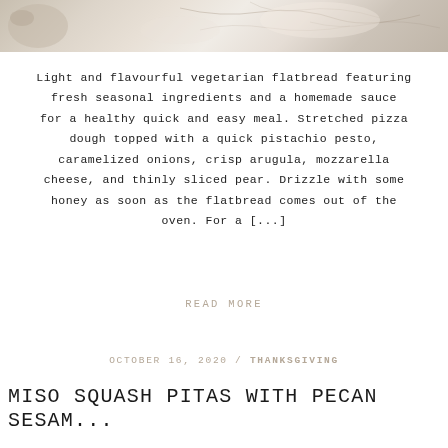[Figure (photo): Partial cropped food photo at top of page showing light-colored flatbread or dough with texture, cropped to a horizontal strip]
Light and flavourful vegetarian flatbread featuring fresh seasonal ingredients and a homemade sauce for a healthy quick and easy meal. Stretched pizza dough topped with a quick pistachio pesto, caramelized onions, crisp arugula, mozzarella cheese, and thinly sliced pear. Drizzle with some honey as soon as the flatbread comes out of the oven. For a [...]
READ MORE
OCTOBER 16, 2020 / THANKSGIVING
MISO SQUASH PITAS WITH PECAN SESAM...